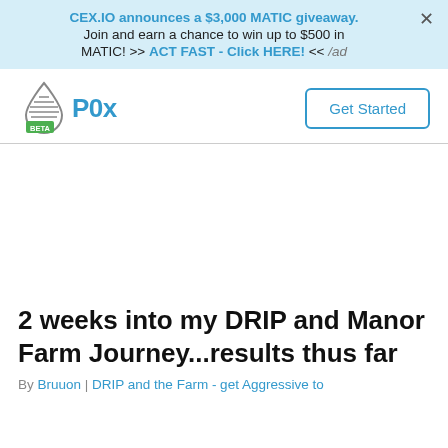CEX.IO announces a $3,000 MATIC giveaway. Join and earn a chance to win up to $500 in MATIC! >> ACT FAST - Click HERE! << /ad
[Figure (logo): P0x logo with water drop icon and BETA label]
Get Started
2 weeks into my DRIP and Manor Farm Journey...results thus far
By Bruuon | DRIP and the Farm - get Aggressive to Passive | 11 Jun 2022